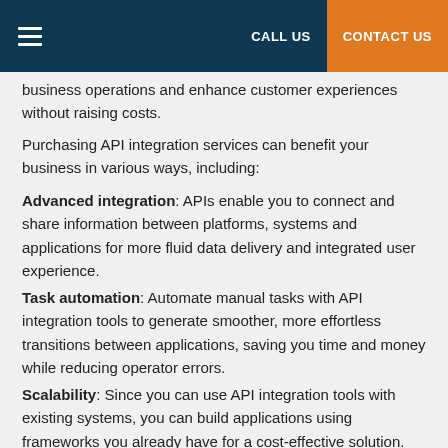CALL US | CONTACT US
business operations and enhance customer experiences without raising costs.
Purchasing API integration services can benefit your business in various ways, including:
Advanced integration: APIs enable you to connect and share information between platforms, systems and applications for more fluid data delivery and integrated user experience.
Task automation: Automate manual tasks with API integration tools to generate smoother, more effortless transitions between applications, saving you time and money while reducing operator errors.
Scalability: Since you can use API integration tools with existing systems, you can build applications using frameworks you already have for a cost-effective solution.
Streamlined visibility: APIs deliver end-to-end system and